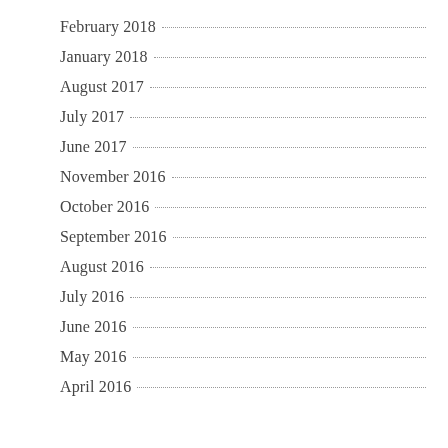February 2018
January 2018
August 2017
July 2017
June 2017
November 2016
October 2016
September 2016
August 2016
July 2016
June 2016
May 2016
April 2016